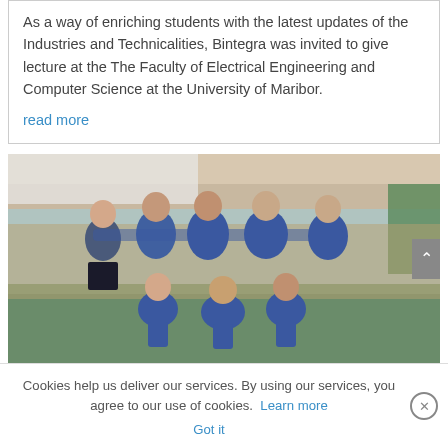As a way of enriching students with the latest updates of the Industries and Technicalities, Bintegra was invited to give lecture at the The Faculty of Electrical Engineering and Computer Science at the University of Maribor.
read more
[Figure (photo): Group photo of approximately 8 men wearing blue t-shirts posing together inside what appears to be a sports facility with a green floor and curved wooden ceiling structure.]
Cookies help us deliver our services. By using our services, you agree to our use of cookies. Learn more Got it